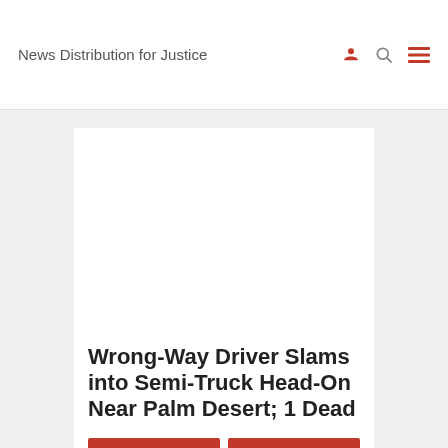News Distribution for Justice
Wrong-Way Driver Slams into Semi-Truck Head-On Near Palm Desert; 1 Dead